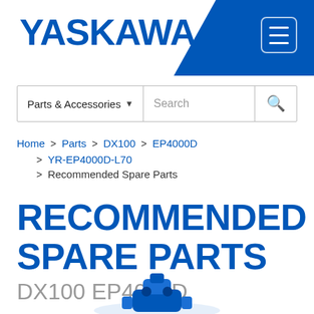[Figure (logo): Yaskawa logo in blue text on white background with blue diagonal banner on right side containing hamburger menu icon]
[Figure (screenshot): Search bar with Parts & Accessories dropdown and Search input field with magnifying glass icon]
Home > Parts > DX100 > EP4000D > YR-EP4000D-L70 > Recommended Spare Parts
RECOMMENDED SPARE PARTS
DX100 EP4000D
[Figure (photo): Partial view of blue industrial robot arm at bottom of page]